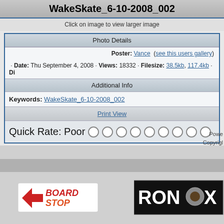WakeSkate_6-10-2008_002
Click on image to view larger image
Photo Details
Poster: Vance (see this users gallery)
· Date: Thu September 4, 2008 · Views: 18332 · Filesize: 38.5kb, 117.4kb · Di
Additional Info
Keywords: WakeSkate_6-10-2008_002
Print View
Quick Rate: Poor
Powe
Copyrigl
[Figure (logo): BoardStop logo]
[Figure (logo): Ronix logo]